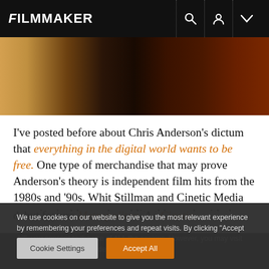FILMMAKER
[Figure (photo): Partial hero image showing warm amber and dark reddish-brown tones, likely a film still or scene from a movie]
I've posted before about Chris Anderson's dictum that everything in the digital world wants to be free. One type of merchandise that may prove Anderson's theory is independent film hits from the 1980s and '90s. Whit Stillman and Cinetic Media organized a blogosphere blitz this week with the free streaming release of his 1990 debut feature Metropolitan. As Cinetic
We use cookies on our website to give you the most relevant experience by remembering your preferences and repeat visits. By clicking "Accept All", you consent to the use of ALL the cookies. However, you may visit "Cookie Settings" to provide a controlled consent.
Cookie Settings    Accept All